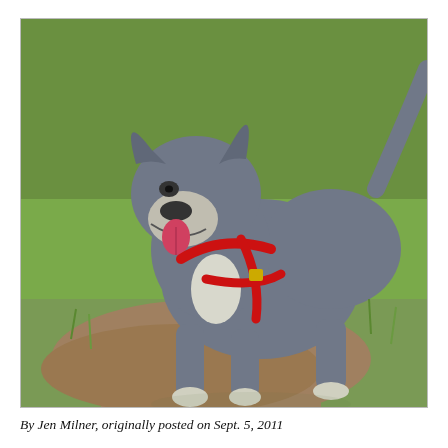[Figure (photo): A blue-gray and white pit bull type dog wearing a red harness, standing on grass and dirt, looking at the camera with mouth open and tongue out, appearing to smile.]
By Jen Milner, originally posted on Sept. 5, 2011